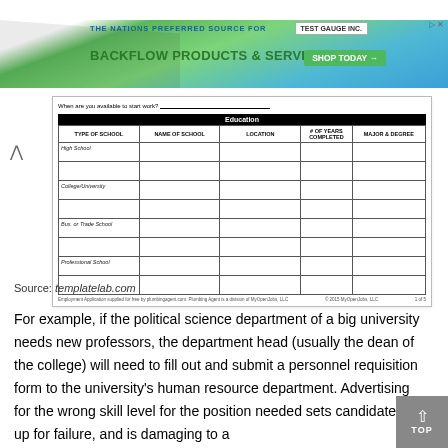[Figure (other): Advertisement banner for Test Gauge Inc. showing backflow products and services with green/blue gradient background and Shop Today button]
| TYPE OF SCHOOL | NAME OF SCHOOL | LOCATION | # OF YEARS COMPLETED | MAJOR & DEGREE |
| --- | --- | --- | --- | --- |
| High School |  |  |  |  |
|  |  |  |  |  |
| College/University |  |  |  |  |
|  |  |  |  |  |
| Bus. or Trade School |  |  |  |  |
|  |  |  |  |  |
| Professional School |  |  |  |  |
|  |  |  |  |  |
Employment Application supplied for free by plumbingagent.com. Plumbing Agent is a division of MyOpenJobs, LLC   © 2015 MyOpenJobs, LLC   1 of 5
Source: templatelab.com
For example, if the political science department of a big university needs new professors, the department head (usually the dean of the college) will need to fill out and submit a personnel requisition form to the university's human resource department. Advertising for the wrong skill level for the position needed sets candidates up for failure, and is damaging to a